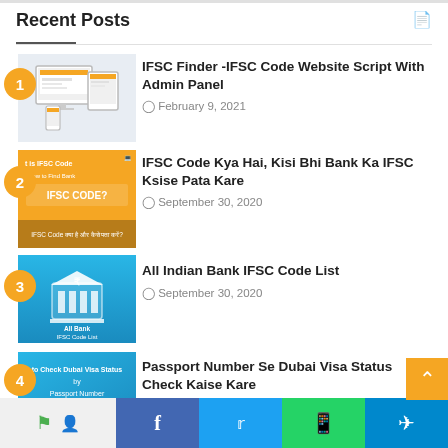Recent Posts
IFSC Finder -IFSC Code Website Script With Admin Panel
February 9, 2021
IFSC Code Kya Hai, Kisi Bhi Bank Ka IFSC Ksise Pata Kare
September 30, 2020
All Indian Bank IFSC Code List
September 30, 2020
Passport Number Se Dubai Visa Status Check Kaise Kare